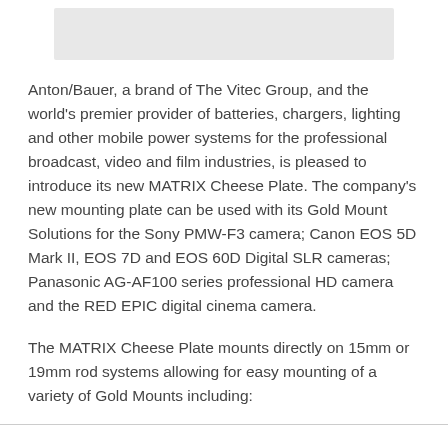[Figure (other): Gray banner/image placeholder bar at top of page]
Anton/Bauer, a brand of The Vitec Group, and the world's premier provider of batteries, chargers, lighting and other mobile power systems for the professional broadcast, video and film industries, is pleased to introduce its new MATRIX Cheese Plate. The company's new mounting plate can be used with its Gold Mount Solutions for the Sony PMW-F3 camera; Canon EOS 5D Mark II, EOS 7D and EOS 60D Digital SLR cameras; Panasonic AG-AF100 series professional HD camera and the RED EPIC digital cinema camera.
The MATRIX Cheese Plate mounts directly on 15mm or 19mm rod systems allowing for easy mounting of a variety of Gold Mounts including: